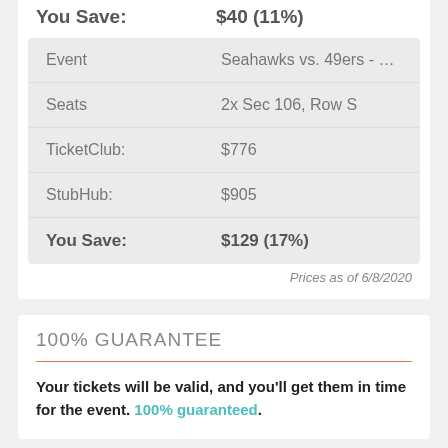|  |  |
| --- | --- |
| You Save: | $40 (11%) |
| Event | Seahawks vs. 49ers - … |
| Seats | 2x Sec 106, Row S |
| TicketClub: | $776 |
| StubHub: | $905 |
| You Save: | $129 (17%) |
Prices as of 6/8/2020
100% GUARANTEE
Your tickets will be valid, and you'll get them in time for the event. 100% guaranteed.
RELATED PERFORMERS